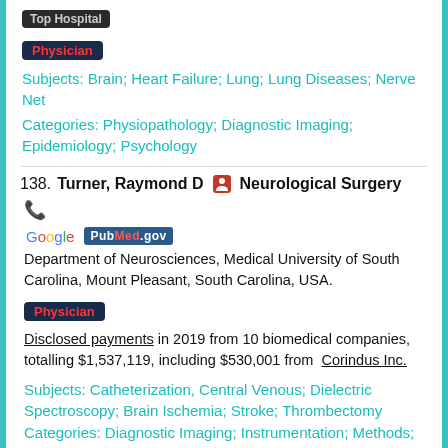Top Hospital
Physician
Subjects: Brain; Heart Failure; Lung; Lung Diseases; Nerve Net
Categories: Physiopathology; Diagnostic Imaging; Epidemiology; Psychology
138. Turner, Raymond D — Neurological Surgery
Department of Neurosciences, Medical University of South Carolina, Mount Pleasant, South Carolina, USA.
Physician
Disclosed payments in 2019 from 10 biomedical companies, totalling $1,537,119, including $530,001 from Corindus Inc.
Subjects: Catheterization, Central Venous; Dielectric Spectroscopy; Brain Ischemia; Stroke; Thrombectomy Categories: Diagnostic Imaging; Instrumentation; Methods; Surgery